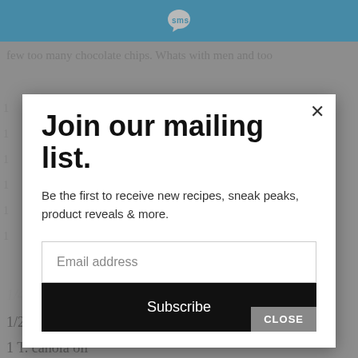SMS logo in blue header bar
few too many chocolate chips.  Whats with men and too
1/4 c. milk (regular or soy)
1/2 t. vanilla
1 T. canola oil
Join our mailing list.
Be the first to receive new recipes, sneak peaks, product reveals & more.
Email address
Subscribe
CLOSE